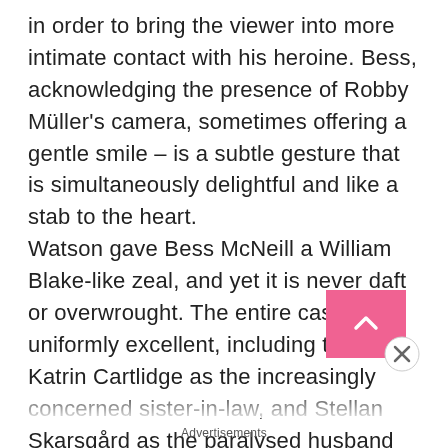in order to bring the viewer into more intimate contact with his heroine. Bess, acknowledging the presence of Robby Müller's camera, sometimes offering a gentle smile – is a subtle gesture that is simultaneously delightful and like a stab to the heart. Watson gave Bess McNeill a William Blake-like zeal, and yet it is never daft or overwrought. The entire cast is uniformly excellent, including the late Katrin Cartlidge as the increasingly concerned sister-in-law, and Stellan Skarsgård as the paralysed husband whose sexual fantasies lead his wife down the road to ruin, but Watson is extraordinary on a whole another level. The performance is a lightning bolt in a clear blue sky
[Figure (other): Pink scroll-to-top button with upward chevron arrow, overlaid with a circular close/dismiss button (X icon)]
Advertisements